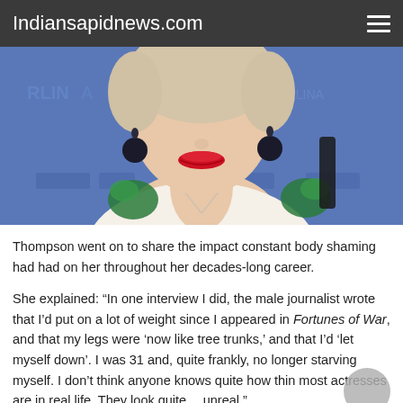Indiansapidnews.com
[Figure (photo): Close-up photo of a woman with short blonde/silver hair, wearing large dark round earrings, red lipstick, and a white blouse with green floral embroidery. She appears to be at a press event with a blue branded backdrop.]
Thompson went on to share the impact constant body shaming had had on her throughout her decades-long career.
She explained: “In one interview I did, the male journalist wrote that I’d put on a lot of weight since I appeared in Fortunes of War, and that my legs were ‘now like tree trunks,’ and that I’d ‘let myself down’. I was 31 and, quite frankly, no longer starving myself. I don’t think anyone knows quite how thin most actresses are in real life. They look quite… unreal.”